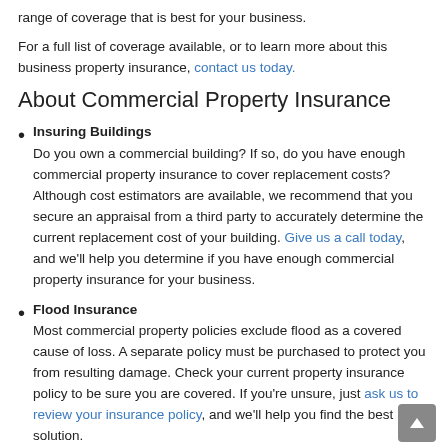range of coverage that is best for your business.
For a full list of coverage available, or to learn more about this business property insurance, contact us today.
About Commercial Property Insurance
Insuring Buildings
Do you own a commercial building? If so, do you have enough commercial property insurance to cover replacement costs? Although cost estimators are available, we recommend that you secure an appraisal from a third party to accurately determine the current replacement cost of your building. Give us a call today, and we'll help you determine if you have enough commercial property insurance for your business.
Flood Insurance
Most commercial property policies exclude flood as a covered cause of loss. A separate policy must be purchased to protect you from resulting damage. Check your current property insurance policy to be sure you are covered. If you're unsure, just ask us to review your insurance policy, and we'll help you find the best solution.